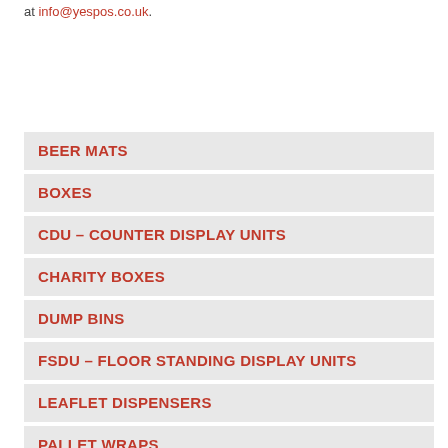at info@yespos.co.uk.
BEER MATS
BOXES
CDU – COUNTER DISPLAY UNITS
CHARITY BOXES
DUMP BINS
FSDU – FLOOR STANDING DISPLAY UNITS
LEAFLET DISPENSERS
PALLET WRAPS
SRP – SHELF READY PACKAGING